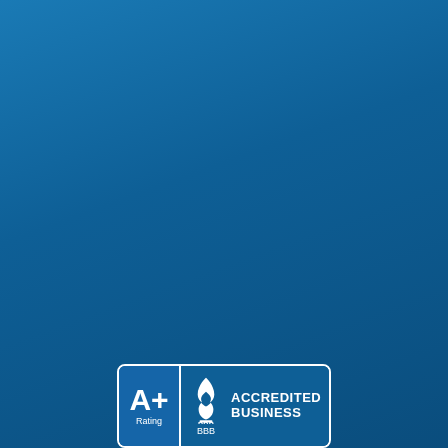[Figure (logo): BBB Accredited Business badge with A+ Rating. Blue background with white border. Left panel shows 'A+' grade and 'Rating' text. Right panel shows BBB flame logo and 'ACCREDITED BUSINESS' text.]